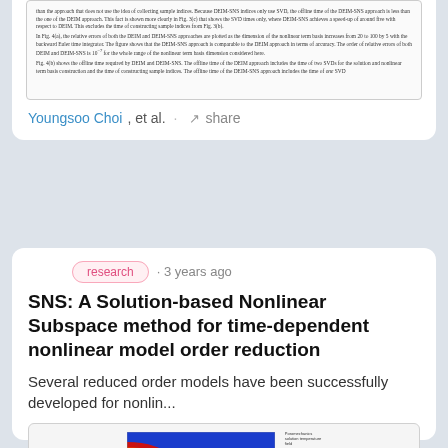[Figure (screenshot): Cropped text from a research paper discussing DEIM-SNS approach comparisons, SVD times, offline time, and relative errors.]
Youngsoo Choi, et al. · share
research · 3 years ago
SNS: A Solution-based Nonlinear Subspace method for time-dependent nonlinear model order reduction
Several reduced order models have been successfully developed for nonlin...
[Figure (illustration): Scientific visualization showing temperature field with a semicircular red/orange region on blue background, and a colormap legend on the right. Caption text below reads figure labels.]